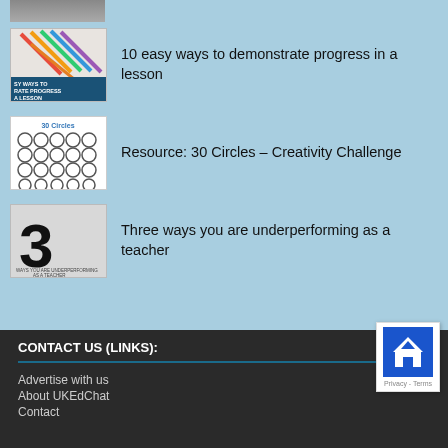[Figure (photo): Partial thumbnail of first article at top, cropped]
[Figure (photo): Thumbnail showing colored pencils and text '10 easy ways to demonstrate progress in a lesson']
10 easy ways to demonstrate progress in a lesson
[Figure (illustration): Thumbnail showing 30 circles in a grid on white background with heading '30 Circles']
Resource: 30 Circles – Creativity Challenge
[Figure (photo): Thumbnail with large '3' and text 'three ways you are underperforming as a teacher']
Three ways you are underperforming as a teacher
CONTACT US (LINKS):
Advertise with us
About UKEdChat
Contact
[Figure (other): Back to top button with blue house/arrow icon and Privacy - Terms label below]